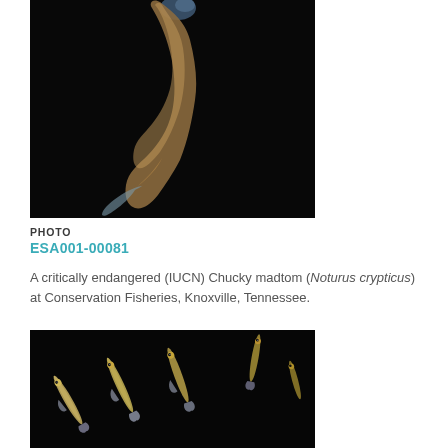[Figure (photo): A critically endangered Chucky madtom fish photographed against a black background, showing the fish body diagonally against dark background]
PHOTO
ESA001-00081
A critically endangered (IUCN) Chucky madtom (Noturus crypticus) at Conservation Fisheries, Knoxville, Tennessee.
[Figure (photo): Multiple small fish photographed against a black background, showing several slender fish with translucent fins]